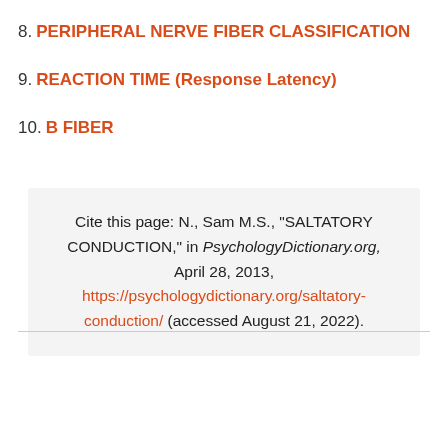8. PERIPHERAL NERVE FIBER CLASSIFICATION
9. REACTION TIME (Response Latency)
10. B FIBER
Cite this page: N., Sam M.S., "SALTATORY CONDUCTION," in PsychologyDictionary.org, April 28, 2013, https://psychologydictionary.org/saltatory-conduction/ (accessed August 21, 2022).